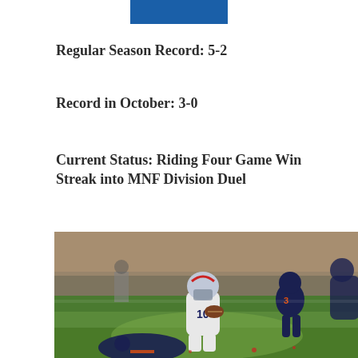[Figure (logo): Blue rectangular logo/banner at top center]
Regular Season Record: 5-2
Record in October: 3-0
Current Status: Riding Four Game Win Streak into MNF Division Duel
[Figure (photo): NFL game action photo showing New England Patriots player #10 in white uniform carrying the ball, being tackled by Chicago Bears defenders in dark navy uniforms with orange accents, on a grass field]